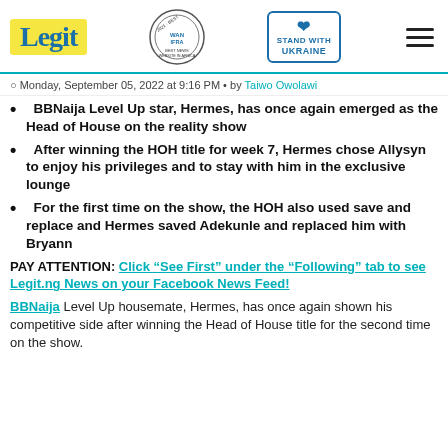Legit | WAN IFRA 2021 Best News Website in Africa | Stand with Ukraine
Monday, September 05, 2022 at 9:16 PM • by Taiwo Owolawi
BBNaija Level Up star, Hermes, has once again emerged as the Head of House on the reality show
After winning the HOH title for week 7, Hermes chose Allysyn to enjoy his privileges and to stay with him in the exclusive lounge
For the first time on the show, the HOH also used save and replace and Hermes saved Adekunle and replaced him with Bryann
PAY ATTENTION: Click "See First" under the "Following" tab to see Legit.ng News on your Facebook News Feed!
BBNaija Level Up housemate, Hermes, has once again shown his competitive side after winning the Head of House title for the second time on the show.